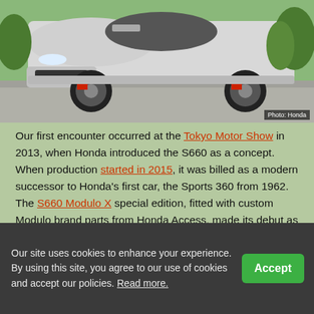[Figure (photo): Front/side view of a white Honda S660 Modulo X sports car on a road, showing front bumper, wheels, and side skirts]
Photo: Honda
Our first encounter occurred at the Tokyo Motor Show in 2013, when Honda introduced the S660 as a concept. When production started in 2015, it was billed as a modern successor to Honda's first car, the Sports 360 from 1962. The S660 Modulo X special edition, fitted with custom Modulo brand parts from Honda Access, made its debut as a complete model in 2018.
[Figure (photo): An orange/red Honda S660 sports car photographed outdoors among green trees]
Our site uses cookies to enhance your experience. By using this site, you agree to our use of cookies and accept our policies. Read more.